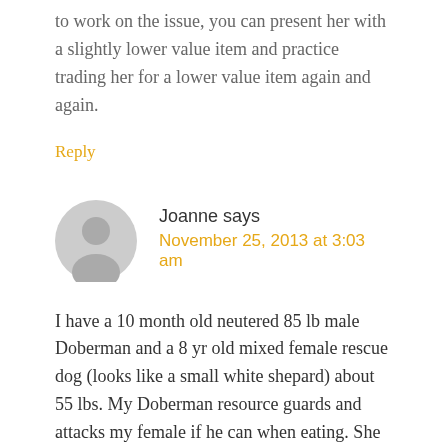to work on the issue, you can present her with a slightly lower value item and practice trading her for a lower value item again and again.
Reply
Joanne says
November 25, 2013 at 3:03 am
I have a 10 month old neutered 85 lb male Doberman and a 8 yr old mixed female rescue dog (looks like a small white shepard) about 55 lbs. My Doberman resource guards and attacks my female if he can when eating. She